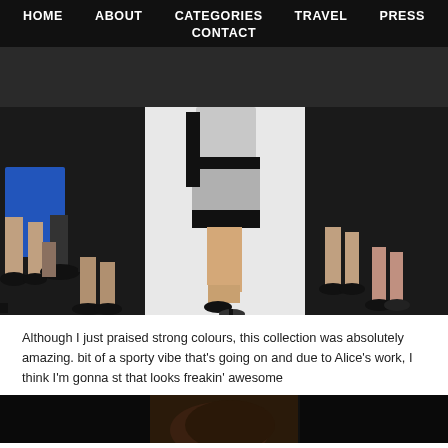HOME   ABOUT   CATEGORIES   TRAVEL   PRESS   CONTACT
[Figure (photo): Fashion runway photo showing a model from mid-torso down, wearing a black and silver/metallic structured dress and black high heels, walking on a white runway with audience seated on both sides]
Although I just praised strong colours, this collection was absolutely amazing. bit of a sporty vibe that's going on and due to Alice's work, I think I'm gonna st that looks freakin' awesome
[Figure (photo): Partial view of second fashion photo at bottom of page, appears dark with partial head/hair visible]